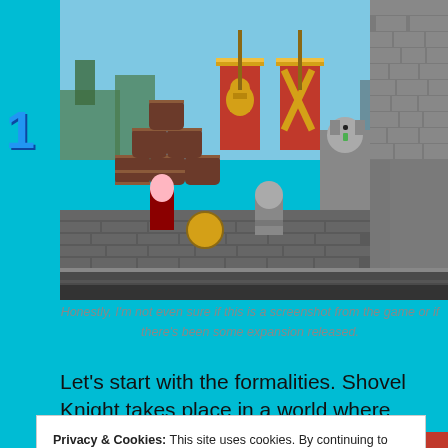[Figure (screenshot): Pixel art game screenshot showing a side-scrolling scene with barrels stacked against a stone brick wall, red banners with gold emblems, a skeleton warrior enemy, a knight character, and a female character. Blue sky with trees/castle in background. Number '1' overlaid on left side.]
Honestly, I'm not even sure if this is a screenshot from the game or if there's been some expansion released.
Let's start with the formalities. Shovel Knight takes place in a world where brutal violence by an elite aristocracy is looked on as cute and quirky, so long as
Privacy & Cookies: This site uses cookies. By continuing to use this website, you agree to their use.
To find out more, including how to control cookies, see here: Cookie Policy
Close and accept